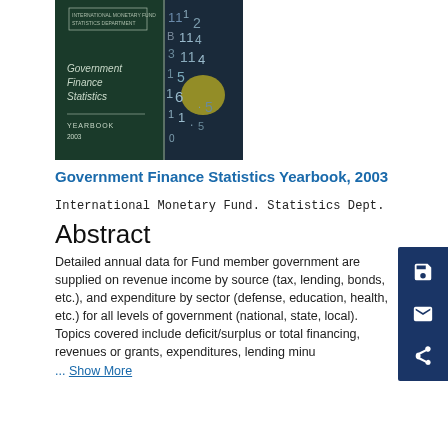[Figure (photo): Book cover of Government Finance Statistics Yearbook 2003, featuring a dark navy cover with text and a globe/numbers background image on the right panel.]
Government Finance Statistics Yearbook, 2003
International Monetary Fund. Statistics Dept.
Abstract
Detailed annual data for Fund member governments are supplied on revenue income by source (tax, lending, bonds, etc.), and expenditure by sector (defense, education, health, etc.) for all levels of government (national, state, local). Topics covered include deficit/surplus or total financing, revenues or grants, expenditures, lending minu
... Show More